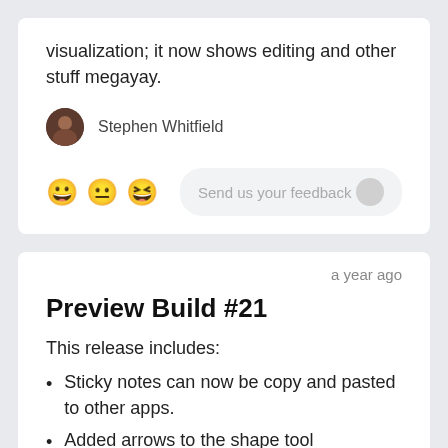visualization; it now shows editing and other stuff megayay.
Stephen Whitfield
Send us your feedback
a year ago
Preview Build #21
This release includes:
Sticky notes can now be copy and pasted to other apps.
Added arrows to the shape tool